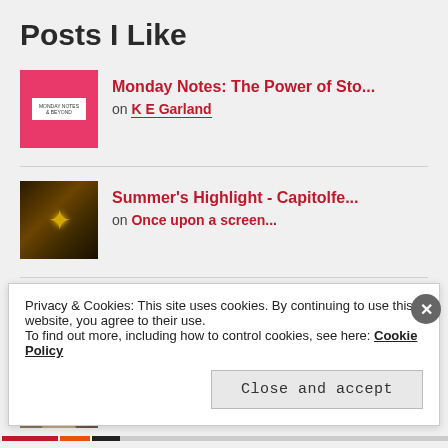Posts I Like
Monday Notes: The Power of Sto... on K E Garland
Summer's Highlight - Capitolfe... on Once upon a screen...
Vindication on Muddling Through My Middle Age
(partially visible fourth post)
Privacy & Cookies: This site uses cookies. By continuing to use this website, you agree to their use.
To find out more, including how to control cookies, see here: Cookie Policy
Close and accept